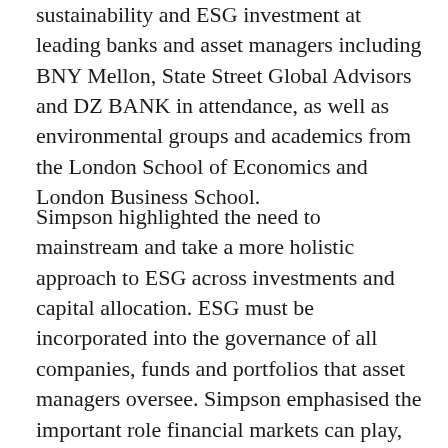sustainability and ESG investment at leading banks and asset managers including BNY Mellon, State Street Global Advisors and DZ BANK in attendance, as well as environmental groups and academics from the London School of Economics and London Business School.
Simpson highlighted the need to mainstream and take a more holistic approach to ESG across investments and capital allocation. ESG must be incorporated into the governance of all companies, funds and portfolios that asset managers oversee. Simpson emphasised the important role financial markets can play, and the power of assets in transitioning the global economy to achieve net zero. The pledge made at COP26 by 450 of the world's biggest banks and pension funds to devote